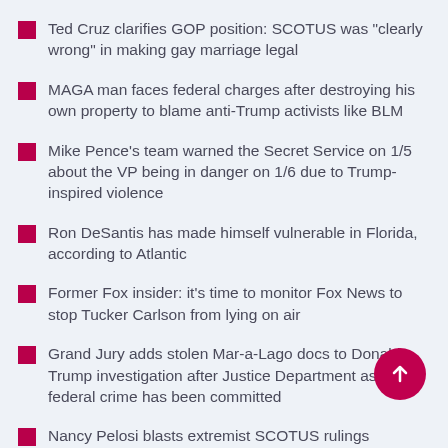Ted Cruz clarifies GOP position: SCOTUS was “clearly wrong” in making gay marriage legal
MAGA man faces federal charges after destroying his own property to blame anti-Trump activists like BLM
Mike Pence’s team warned the Secret Service on 1/5 about the VP being in danger on 1/6 due to Trump-inspired violence
Ron DeSantis has made himself vulnerable in Florida, according to Atlantic
Former Fox insider: it’s time to monitor Fox News to stop Tucker Carlson from lying on air
Grand Jury adds stolen Mar-a-Lago docs to Donald Trump investigation after Justice Department asserts a federal crime has been committed
Nancy Pelosi blasts extremist SCOTUS rulings